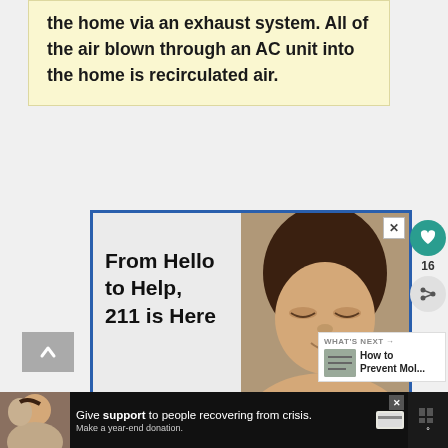the home via an exhaust system. All of the air blown through an AC unit into the home is recirculated air.
[Figure (infographic): Advertisement: '211 is Here' showing a child resting with text 'From Hello to Help, 211 is Here' and a blue pill button showing '2·1·1']
[Figure (infographic): Bottom banner ad showing a person in crisis with text 'Give support to people recovering from crisis. Make a year-end donation.']
WHAT'S NEXT → How to Prevent Mol...
16